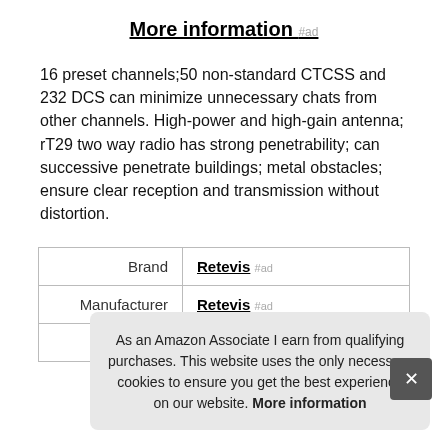More information #ad
16 preset channels;50 non-standard CTCSS and 232 DCS can minimize unnecessary chats from other channels. High-power and high-gain antenna; rT29 two way radio has strong penetrability; can successive penetrate buildings; metal obstacles; ensure clear reception and transmission without distortion.
|  |  |
| --- | --- |
| Brand | Retevis #ad |
| Manufacturer | Retevis #ad |
| Height | 5.9 Inches |
As an Amazon Associate I earn from qualifying purchases. This website uses the only necessary cookies to ensure you get the best experience on our website. More information